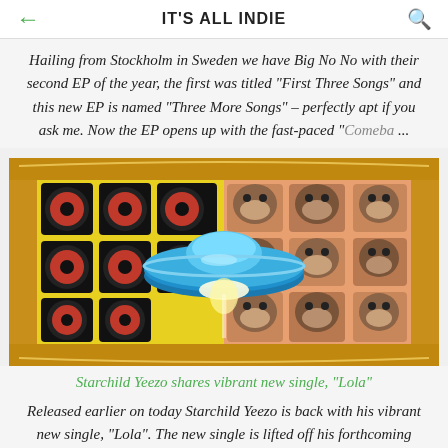IT'S ALL INDIE
Hailing from Stockholm in Sweden we have Big No No with their second EP of the year, the first was titled "First Three Songs" and this new EP is named "Three More Songs" – perfectly apt if you ask me. Now the EP opens up with the fast-paced "Comeba ...
[Figure (photo): A colorful illustration in a gold ornate frame showing a blue flying saucer/UFO hovering over a glowing light, with red and black speaker/subwoofer icons on a yellow background on the left, and monkey head figurines on a peach/orange background on the right.]
Starchild Yeezo shares vibrant new single, "Lola"
Released earlier on today Starchild Yeezo is back with his vibrant new single, "Lola". The new single is lifted off his forthcoming album, "Something in the Book" and joins the list ...